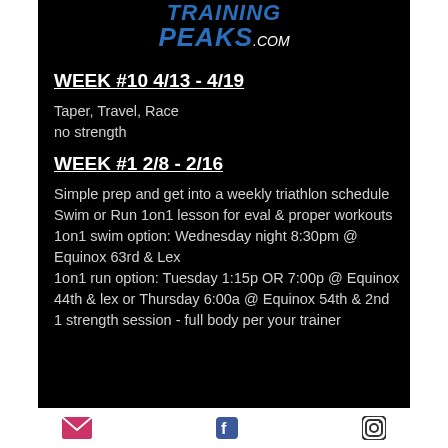[Figure (logo): TrainingPeaks.com logo in blue italic bold text on black background]
WEEK #10 4/13 - 4/19
Taper, Travel, Race
no strength
WEEK #1 2/8 - 2/16
Simple prep and get into a weekly triathlon schedule
Swim or Run 1on1 lesson for eval & proper workouts
1on1 swim option: Wednesday night 8:30pm @ Equinox 63rd & Lex
1on1 run option: Tuesday 1:15p OR 7:00p @ Equinox 44th & lex or Thursday 6:00a @ Equinox 54th & 2nd
1 strength session - full body per your trainer
Email | Facebook | Instagram icons